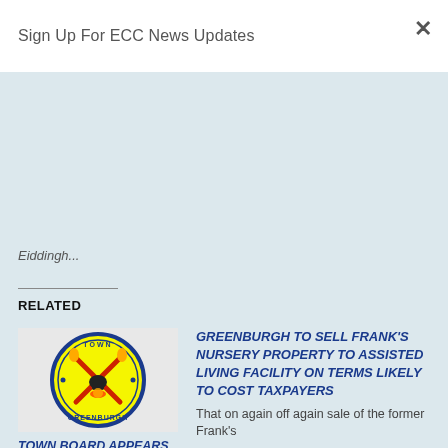Sign Up For ECC News Updates
Eiddingh...
RELATED
[Figure (logo): Town of Greenburgh circular seal logo with yellow background, red crossed torches, and blue border text]
TOWN BOARD APPEARS ADRIFT AS UNADDRESSED PROBLEMS BEGIN TO PILE UP
November 18, 2014
GREENBURGH TO SELL FRANK'S NURSERY PROPERTY TO ASSISTED LIVING FACILITY ON TERMS LIKELY TO COST TAXPAYERS
That on again off again sale of the former Frank's